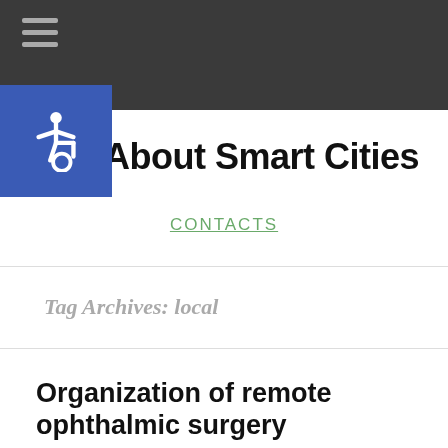About Smart Cities
CONTACTS
Tag Archives: local
Organization of remote ophthalmic surgery